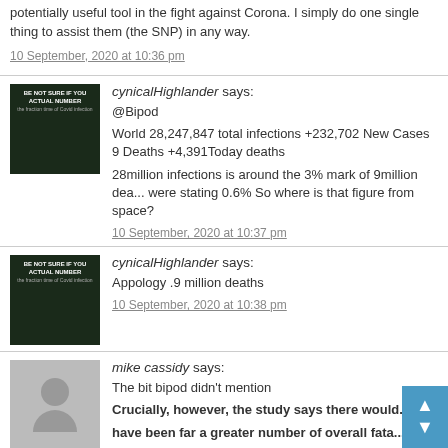potentially useful tool in the fight against Corona. I simply do one single thing to assist them (the SNP) in any way.
10 September, 2020 at 10:36 pm
cynicalHighlander says:
@Bipod
World 28,247,847 total infections +232,702 New Cases 9 Deaths +4,391Today deaths
28million infections is around the 3% mark of 9million deaths were stating 0.6% So where is that figure from space?
10 September, 2020 at 10:37 pm
cynicalHighlander says:
Appology .9 million deaths
10 September, 2020 at 10:38 pm
mike cassidy says:
The bit bipod didn't mention
Crucially, however, the study says there would have been far a greater number of overall fata...